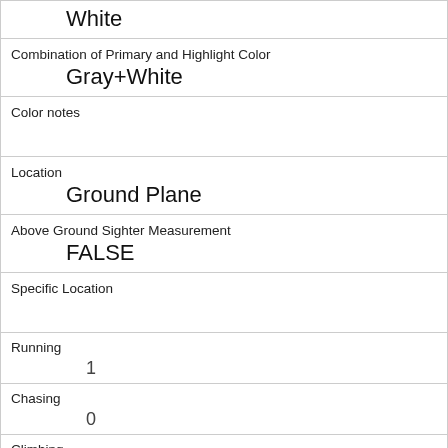|  | White |
| Combination of Primary and Highlight Color | Gray+White |
| Color notes |  |
| Location | Ground Plane |
| Above Ground Sighter Measurement | FALSE |
| Specific Location |  |
| Running | 1 |
| Chasing | 0 |
| Climbing | 1 |
| Eating | 0 |
| Foraging |  |